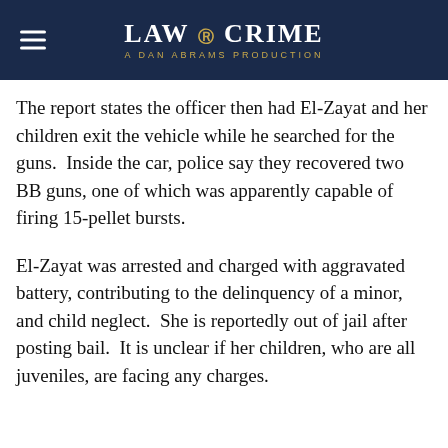LAW & CRIME — A DAN ABRAMS PRODUCTION
The report states the officer then had El-Zayat and her children exit the vehicle while he searched for the guns.  Inside the car, police say they recovered two BB guns, one of which was apparently capable of firing 15-pellet bursts.
El-Zayat was arrested and charged with aggravated battery, contributing to the delinquency of a minor, and child neglect.  She is reportedly out of jail after posting bail.  It is unclear if her children, who are all juveniles, are facing any charges.